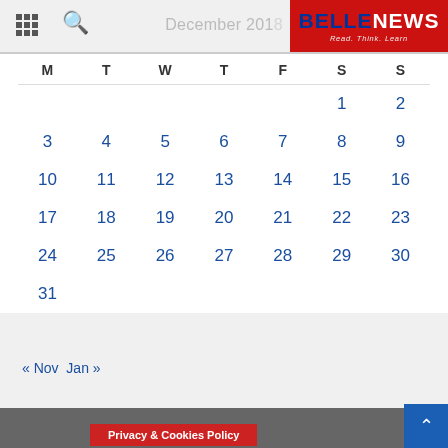BELLENEWS - December 2018 calendar
| M | T | W | T | F | S | S |
| --- | --- | --- | --- | --- | --- | --- |
|  |  |  |  |  | 1 | 2 |
| 3 | 4 | 5 | 6 | 7 | 8 | 9 |
| 10 | 11 | 12 | 13 | 14 | 15 | 16 |
| 17 | 18 | 19 | 20 | 21 | 22 | 23 |
| 24 | 25 | 26 | 27 | 28 | 29 | 30 |
| 31 |  |  |  |  |  |  |
« Nov   Jan »
© 201   Privacy & Cookies Policy